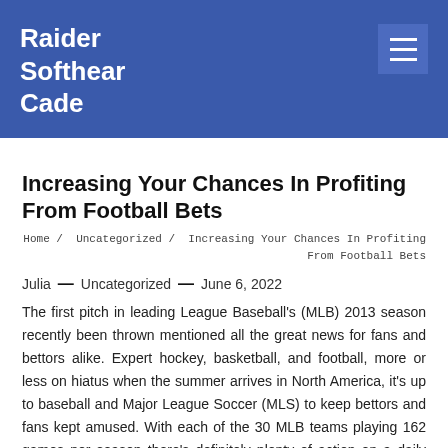Raider Softhear Cade
Increasing Your Chances In Profiting From Football Bets
Home / Uncategorized / Increasing Your Chances In Profiting From Football Bets
Julia — Uncategorized — June 6, 2022
The first pitch in leading League Baseball's (MLB) 2013 season recently been thrown mentioned all the great news for fans and bettors alike. Expert hockey, basketball, and football, more or less on hiatus when the summer arrives in North America, it's up to baseball and Major League Soccer (MLS) to keep bettors and fans kept amused. With each of the 30 MLB teams playing 162 games per season there's definitely plenty of action on a daily basis,